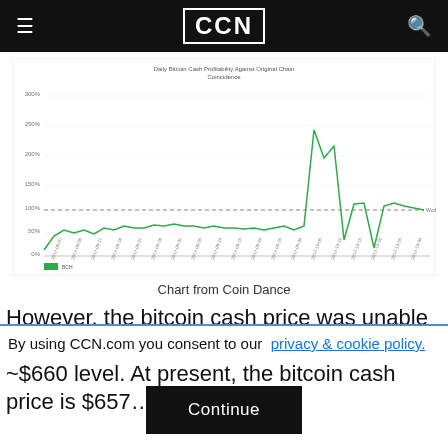CCN
[Figure (line-chart): Line chart showing Daily Bitcoin Cash Profitability Against Original Chain Coincidence over time, with a green line fluctuating around 60-80% for most of the period then spiking to ~250% before dropping back to ~120%. A dashed horizontal reference line is labeled 'Work Ratio'.]
Chart from Coin Dance
However, the bitcoin cash price was unable to pierce $700, and it quickly fell back to the ~$660 level. At present, the bitcoin cash price is $657…
By using CCN.com you consent to our  privacy & cookie policy.
Continue